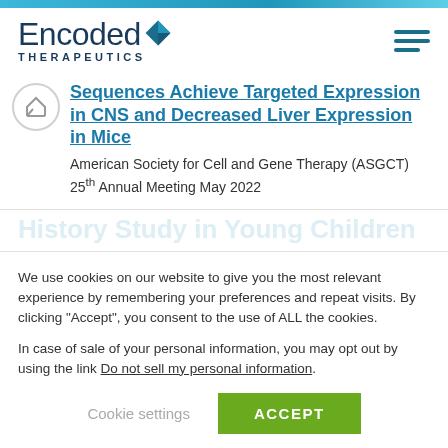[Figure (logo): Encoded Therapeutics logo with diamond icon]
Sequences Achieve Targeted Expression in CNS and Decreased Liver Expression in Mice
American Society for Cell and Gene Therapy (ASGCT) 25th Annual Meeting May 2022
We use cookies on our website to give you the most relevant experience by remembering your preferences and repeat visits. By clicking “Accept”, you consent to the use of ALL the cookies.
In case of sale of your personal information, you may opt out by using the link Do not sell my personal information.